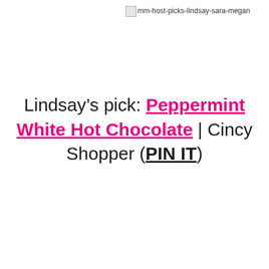[Figure (other): Broken image placeholder with alt text: mm-host-picks-lindsay-sara-megan]
Lindsay’s pick: Peppermint White Hot Chocolate | Cincy Shopper (PIN IT)